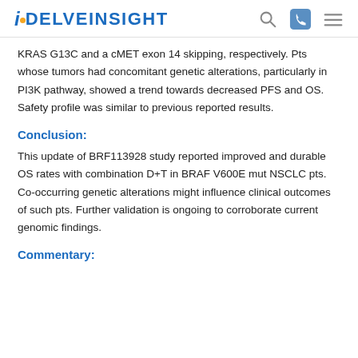DelveInsight
KRAS G13C and a cMET exon 14 skipping, respectively. Pts whose tumors had concomitant genetic alterations, particularly in PI3K pathway, showed a trend towards decreased PFS and OS. Safety profile was similar to previous reported results.
Conclusion:
This update of BRF113928 study reported improved and durable OS rates with combination D+T in BRAF V600E mut NSCLC pts. Co-occurring genetic alterations might influence clinical outcomes of such pts. Further validation is ongoing to corroborate current genomic findings.
Commentary: